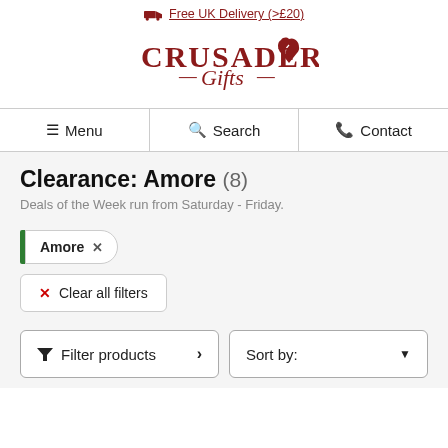Free UK Delivery (>£20)
[Figure (logo): Crusader Gifts logo with red tulip/heart emblem]
Menu | Search | Contact
Clearance: Amore (8)
Deals of the Week run from Saturday - Friday.
Amore × (active filter tag)
✕ Clear all filters
Filter products › | Sort by: